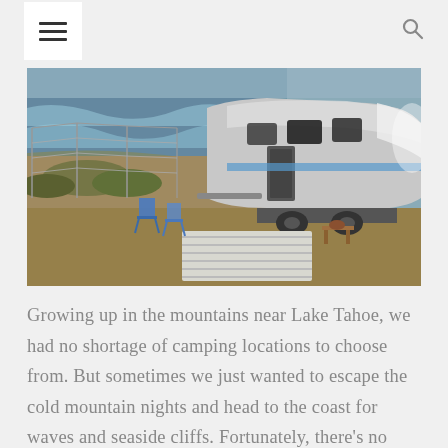≡  🔍
[Figure (photo): An Airstream silver travel trailer parked on a coastal bluff overlooking the ocean. Camping chairs are set up beside it. A white wooden deck/mat is in front of the trailer. Chain-link fence visible in background with ocean waves and cliffs.]
Growing up in the mountains near Lake Tahoe, we had no shortage of camping locations to choose from. But sometimes we just wanted to escape the cold mountain nights and head to the coast for waves and seaside cliffs. Fortunately, there's no shortage of camping locations on the